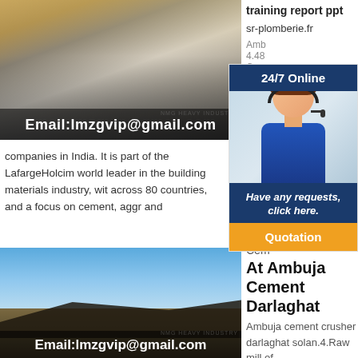[Figure (photo): Industrial cone crusher machine in a factory setting with yellow crane visible in background, email overlay at bottom]
Email:lmzgvip@gmail.com
training report ppt
sr-plomberie.fr
[Figure (infographic): 24/7 Online chat widget with woman wearing headset, dark blue header and footer, orange Quotation button]
Amb
4.48
Cem
the b
companies in India. It is part of the LafargeHolcim world leader in the building materials industry, wit across 80 countries, and a focus on cement, aggr and
[Figure (photo): Outdoor quarry/mining equipment with blue sky and clouds in background, email overlay at bottom]
Email:lmzgvip@gmail.com
Cem
At Ambuja Cement Darlaghat
Ambuja cement crusher darlaghat solan.4.Raw mill of